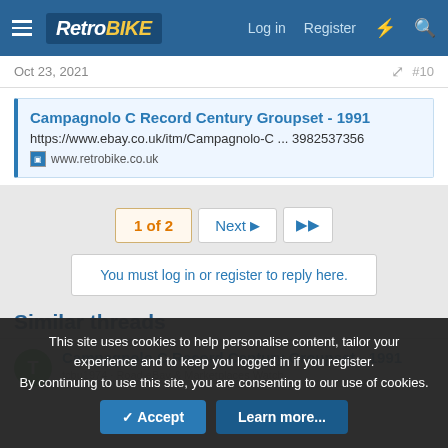RetroBike — Log in | Register
Oct 23, 2021   #10
Campagnolo C Record Century Groupset - 1991
https://www.ebay.co.uk/itm/Campagnolo-C ... 3982537356
www.retrobike.co.uk
1 of 2  Next  ▶▶
You must log in or register to reply here.
Similar threads
Campagnolo C Record Century Groupset - 1991
This site uses cookies to help personalise content, tailor your experience and to keep you logged in if you register.
By continuing to use this site, you are consenting to our use of cookies.
Accept  Learn more...